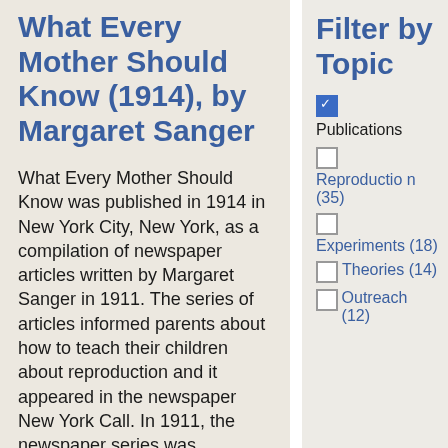What Every Mother Should Know (1914), by Margaret Sanger
What Every Mother Should Know was published in 1914 in New York City, New York, as a compilation of newspaper articles written by Margaret Sanger in 1911. The series of articles informed parents about how to teach their children about reproduction and it appeared in the newspaper New York Call. In 1911, the newspaper series was published as a
Filter by Topic
Publications (checked)
Reproduction (35)
Experiments (18)
Theories (14)
Outreach (12)